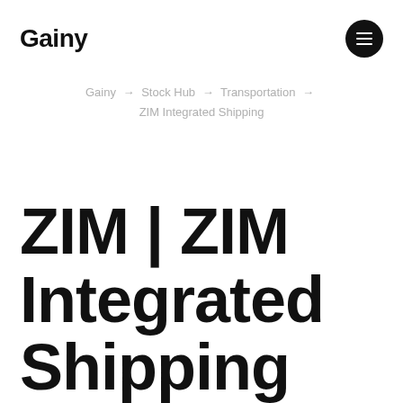Gainy
Gainy → Stock Hub → Transportation → ZIM Integrated Shipping
ZIM | ZIM Integrated Shipping Services Ltd.